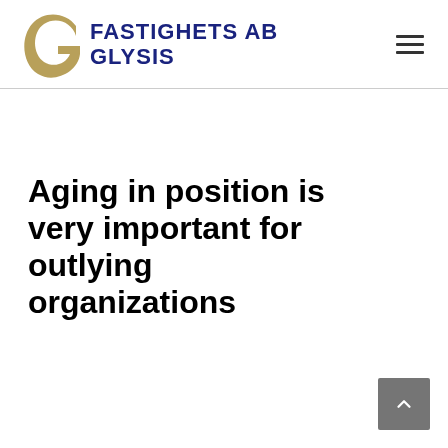FASTIGHETS AB GLYSIS
Aging in position is very important for outlying organizations